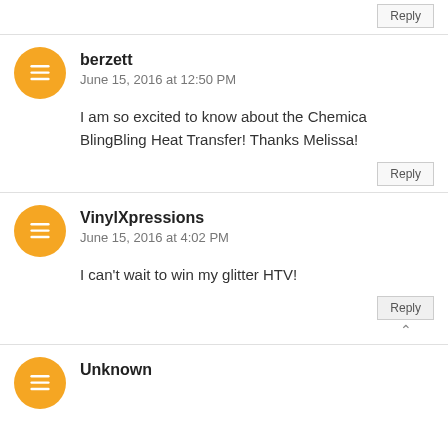Reply
berzett
June 15, 2016 at 12:50 PM
I am so excited to know about the Chemica BlingBling Heat Transfer! Thanks Melissa!
Reply
VinylXpressions
June 15, 2016 at 4:02 PM
I can't wait to win my glitter HTV!
Reply
Unknown